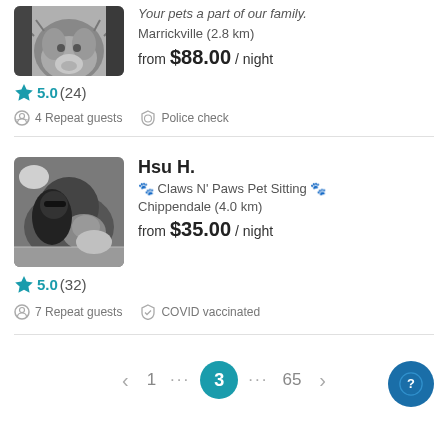[Figure (photo): Partial view of a fluffy dog (chow chow) in black and white photo, cropped at top]
Your pets a part of our family.
Marrickville (2.8 km)
from $88.00 / night
⭐ 5.0 (24)
4 Repeat guests   Police check
[Figure (photo): Black and white photo of a person lying with a cat/dog]
Hsu H.
🐾 Claws N' Paws Pet Sitting 🐾
Chippendale (4.0 km)
from $35.00 / night
⭐ 5.0 (32)
7 Repeat guests   COVID vaccinated
< 1 … 3 … 65 >